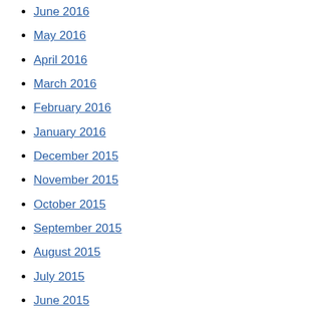June 2016
May 2016
April 2016
March 2016
February 2016
January 2016
December 2015
November 2015
October 2015
September 2015
August 2015
July 2015
June 2015
May 2015
April 2015
March 2015
February 2015